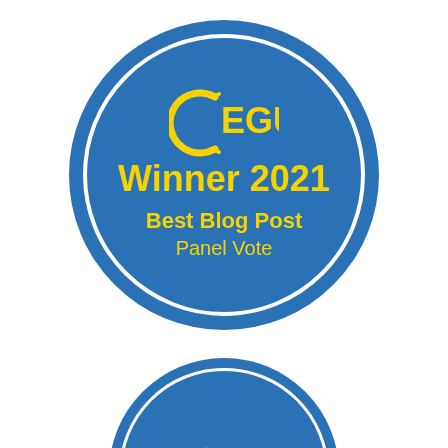[Figure (logo): EGU Winner 2021 Best Blog Post Panel Vote badge — circular blue badge with white inner ring, yellow EGU logo at top, bold yellow 'Winner 2021' text, yellow 'Best Blog Post' and 'Panel Vote' text. A second partially visible identical badge appears at the bottom.]